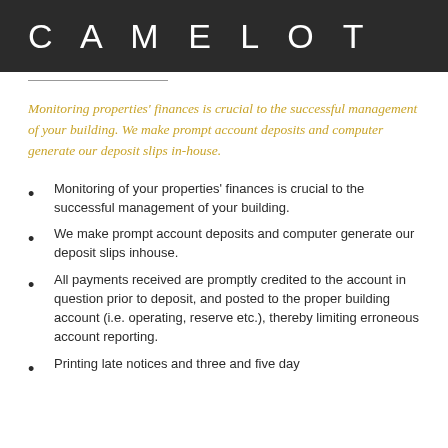CAMELOT
Monitoring properties' finances is crucial to the successful management of your building. We make prompt account deposits and computer generate our deposit slips in-house.
Monitoring of your properties' finances is crucial to the successful management of your building.
We make prompt account deposits and computer generate our deposit slips inhouse.
All payments received are promptly credited to the account in question prior to deposit, and posted to the proper building account (i.e. operating, reserve etc.), thereby limiting erroneous account reporting.
Printing late notices and three and five day